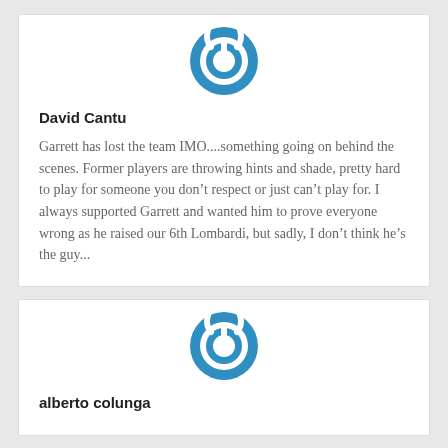[Figure (logo): Blue power button icon/avatar circle for David Cantu]
David Cantu
Garrett has lost the team IMO....something going on behind the scenes. Former players are throwing hints and shade, pretty hard to play for someone you don't respect or just can't play for. I always supported Garrett and wanted him to prove everyone wrong as he raised our 6th Lombardi, but sadly, I don't think he's the guy...
[Figure (logo): Blue power button icon/avatar circle for alberto colunga]
alberto colunga